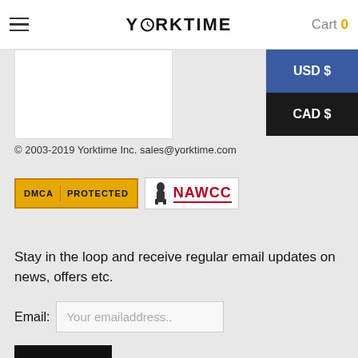YORKTIME | Cart 0
[Figure (photo): White image placeholder (product or logo image)]
[Figure (logo): Currency selector panel with USD $ (blue) and CAD $ (dark) buttons]
© 2003-2019 Yorktime Inc. sales@yorktime.com
[Figure (logo): DMCA PROTECTED badge in gold and NAWCC logo with figure]
Stay in the loop and receive regular email updates on news, offers etc.
Email: Your emailaddress..
Sign up